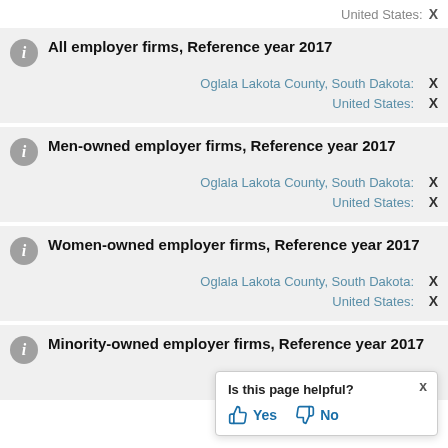United States: X
All employer firms, Reference year 2017
Oglala Lakota County, South Dakota: X
United States: X
Men-owned employer firms, Reference year 2017
Oglala Lakota County, South Dakota: X
United States: X
Women-owned employer firms, Reference year 2017
Oglala Lakota County, South Dakota: X
United States: X
Minority-owned employer firms, Reference year 2017
Oglala Lakota County, South Dakota: X
Is this page helpful? Yes No